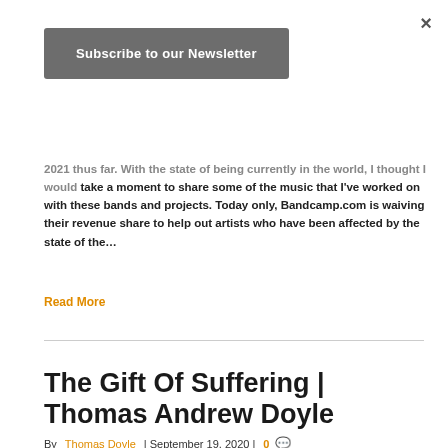×
Subscribe to our Newsletter
2021 thus far. With the state of being currently in the world, I thought I would take a moment to share some of the music that I've worked on with these bands and projects. Today only, Bandcamp.com is waiving their revenue share to help out artists who have been affected by the state of the…
Read More
The Gift Of Suffering | Thomas Andrew Doyle
By Thomas Doyle | September 19, 2020 | 0
[Figure (photo): Dark night sky with stars – article featured image preview]